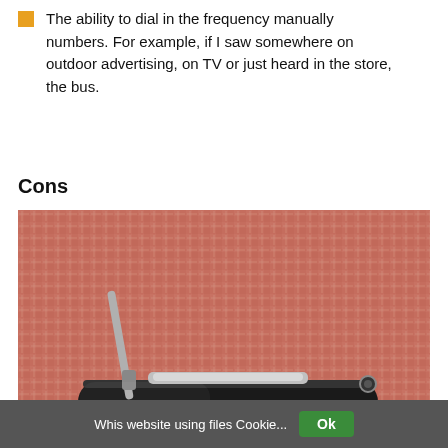The ability to dial in the frequency manually numbers. For example, if I saw somewhere on outdoor advertising, on TV or just heard in the store, the bus.
Cons
[Figure (photo): A black portable radio device (Rolton brand) with an antenna, lying on a red and white woven fabric/textile background. The device has a white label on the front.]
Whis website using files Cookie... Ok